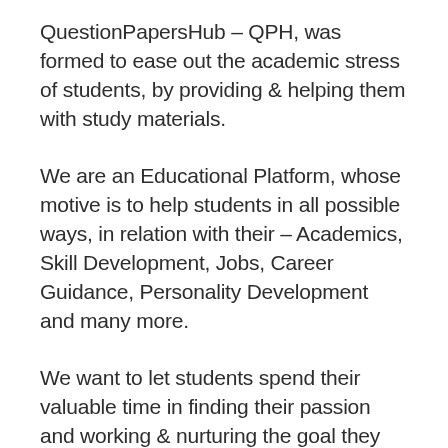QuestionPapersHub – QPH, was formed to ease out the academic stress of students, by providing & helping them with study materials.
We are an Educational Platform, whose motive is to help students in all possible ways, in relation with their – Academics, Skill Development, Jobs, Career Guidance, Personality Development and many more.
We want to let students spend their valuable time in finding their passion and working & nurturing the goal they have, without forgetting the Joy of Learning, By Preventing Money Issue To Halt Their Progress.